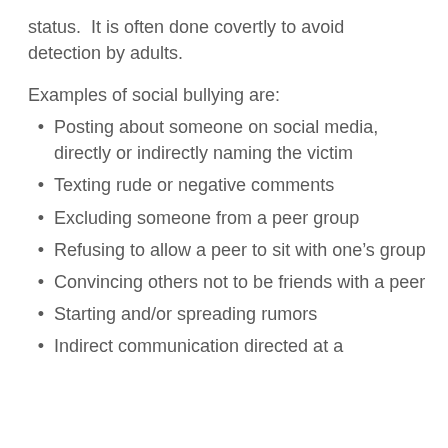status. It is often done covertly to avoid detection by adults.
Examples of social bullying are:
Posting about someone on social media, directly or indirectly naming the victim
Texting rude or negative comments
Excluding someone from a peer group
Refusing to allow a peer to sit with one's group
Convincing others not to be friends with a peer
Starting and/or spreading rumors
Indirect communication directed at a